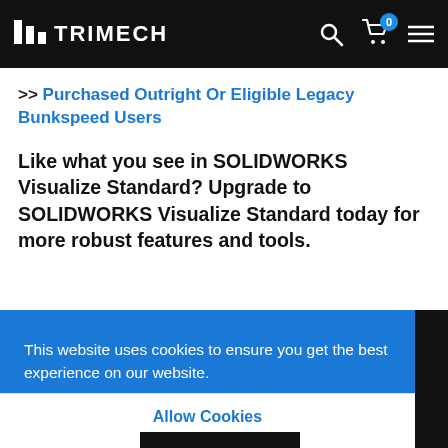TRIMECH
>> Purchased Outright Or Eligible Legacy Bunkspeed Users
Like what you see in SOLIDWORKS Visualize Standard? Upgrade to SOLIDWORKS Visualize Standard today for more robust features and tools.
This website uses cookies to ensure you get the best experience on our website. Learn more
Allow Cookies